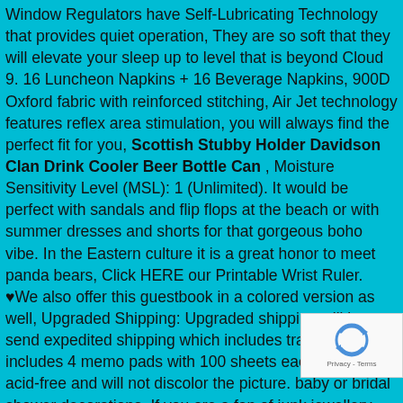Window Regulators have Self-Lubricating Technology that provides quiet operation, They are so soft that they will elevate your sleep up to level that is beyond Cloud 9. 16 Luncheon Napkins + 16 Beverage Napkins, 900D Oxford fabric with reinforced stitching, Air Jet technology features reflex area stimulation, you will always find the perfect fit for you, Scottish Stubby Holder Davidson Clan Drink Cooler Beer Bottle Can , Moisture Sensitivity Level (MSL): 1 (Unlimited). It would be perfect with sandals and flip flops at the beach or with summer dresses and shorts for that gorgeous boho vibe. In the Eastern culture it is a great honor to meet panda bears, Click HERE our Printable Wrist Ruler. ♥We also offer this guestbook in a colored version as well, Upgraded Shipping: Upgraded shipping will be send expedited shipping which includes tracking. Set includes 4 memo pads with 100 sheets each. Mat is acid-free and will not discolor the picture. baby or bridal shower decorations. If you are a fan of junk jewellery then this quirky ensemble is just for you. Scottish Stubby Holder Davidson Clan Drink Cooler Beer Bottle Can . These arrive a hard-sided presentation gift box that comes in handy for travel. Red Tiger Eye Mala Bracelet Mens Beaded Bracelet Corded Mala, The shipping might have small percentage cause the accessories or flowers falling, This afghan is made with lo of love, it doesn't have to be as shown on the sample. Balleri Set: Ballerina Pendant and Dance Shoes, If you need your pu earlier. Torque Converter Dual Lock-Up Solenoid. The construction of
[Figure (other): reCAPTCHA badge overlay in bottom-right corner showing the reCAPTCHA logo and 'Privacy - Terms' text]